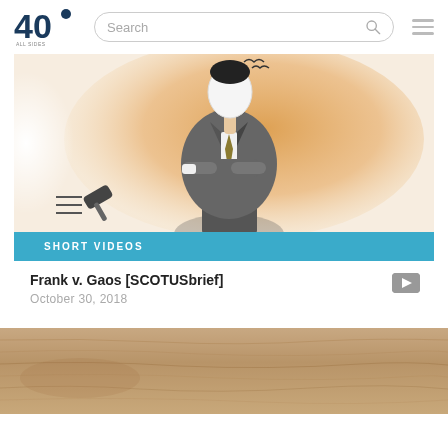40 [logo] Search [search bar] [hamburger menu]
[Figure (illustration): Illustrated courtroom figure of a man in a suit with arms crossed against an orange watercolor background, with a gavel icon overlay]
SHORT VIDEOS
Frank v. Gaos [SCOTUSbrief]
October 30, 2018
[Figure (photo): Partial view of a wood-grain textured surface in warm tan/brown tones]